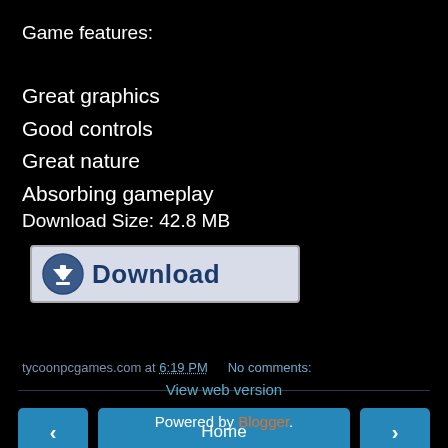Game features:
Great graphics
Good controls
Great nature
Absorbing gameplay
Download Size: 42.8 MB
[Figure (other): Download button with icon and bold blue text 'Download' on grey background]
tycoonpcgames.com at 6:19 PM   No comments:
Home
View web version
Powered by Blogger.